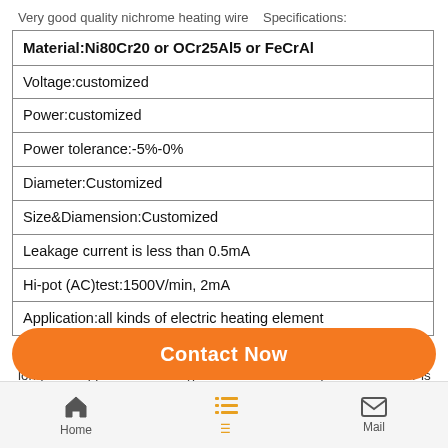Very good quality nichrome heating wire   Specifications:
| Material:Ni80Cr20 or OCr25Al5 or FeCrAl |
| Voltage:customized |
| Power:customized |
| Power tolerance:-5%-0% |
| Diameter:Customized |
| Size&Diamension:Customized |
| Leakage current is less than 0.5mA |
| Hi-pot (AC)test:1500V/min, 2mA |
| Application:all kinds of electric heating element |
Characters: 1.Fast heat exchange rate 2.Long transfer of heat radiation 3.High quality 4.Easy installation 5.High safety 6.Low cost & long life   Application:   All types of electric heating elements.      Pls advise when inquiry: 1.Type of Heater 2.Wattage and Voltage
Contact Now | Home | Mail